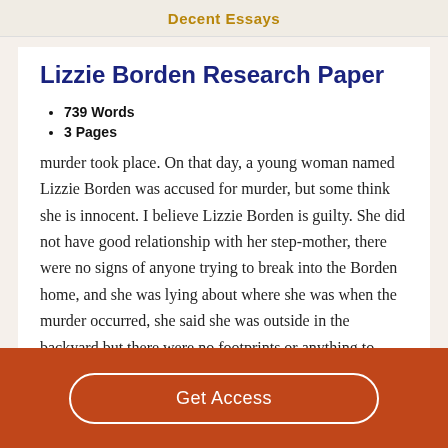Decent Essays
Lizzie Borden Research Paper
739 Words
3 Pages
murder took place. On that day, a young woman named Lizzie Borden was accused for murder, but some think she is innocent. I believe Lizzie Borden is guilty. She did not have good relationship with her step-mother, there were no signs of anyone trying to break into the Borden home, and she was lying about where she was when the murder occurred, she said she was outside in the backyard but there were no footprints or anything to prove she was. Lizzie Borden is
Get Access